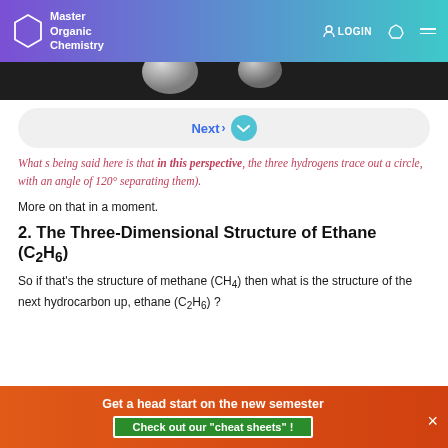Master Organic Chemistry | LOGIN
[Figure (photo): Dark background with white orb/sphere shapes partially visible at top]
Next >
What's being said here is that in this perspective, the three hydrogens trace out a circle, with an angle of 120° separating them).
More on that in a moment.
2. The Three-Dimensional Structure of Ethane (C₂H₆)
So if that's the structure of methane (CH₄) then what is the structure of the next hydrocarbon up, ethane (C₂H₆) ?
Get a head start on the new semester — Check out our "cheat sheets" !